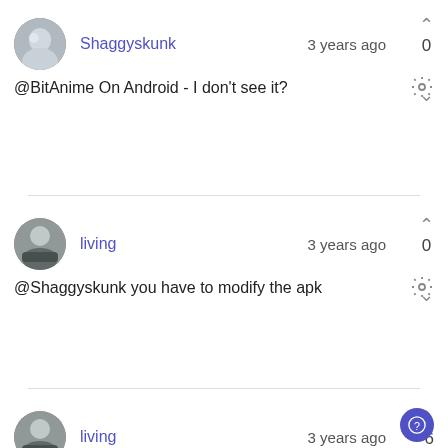Shaggyskunk · 3 years ago · vote: 0 · @BitAnime On Android - I don't see it?
living · 3 years ago · vote: 0 · @Shaggyskunk you have to modify the apk
living · 3 years ago · vote: -6